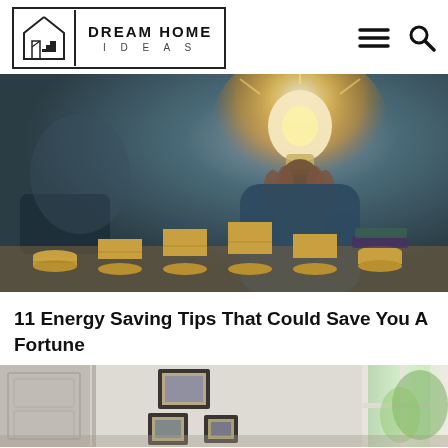DREAM HOME IDEAS
[Figure (photo): Person holding a glowing light bulb with stacks of coins on a desk in the foreground, suggesting energy savings and financial benefit]
11 Energy Saving Tips That Could Save You A Fortune
[Figure (photo): Bright interior room with white walls, framed pictures, and a window with natural light coming through, suggesting a well-lit home interior]